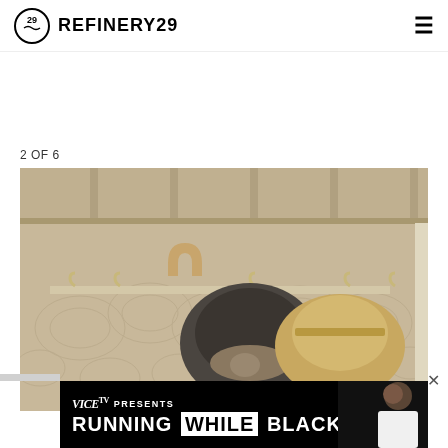REFINERY29
2 OF 6
[Figure (photo): Overhead view of a coat rack on textured wallpaper with two hats hanging — a dark woven hat with fur trim and a tan wide-brim fedora — along with hooks and a horseshoe decoration]
[Figure (screenshot): VICE TV PRESENTS advertisement banner: RUNNING WHILE BLACK, with a person visible on the right side]